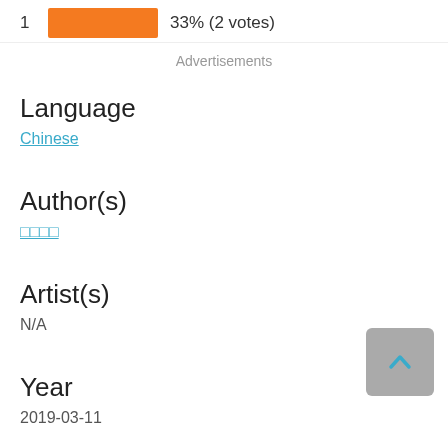[Figure (bar-chart): Rating bar]
Advertisements
Language
Chinese
Author(s)
□□□□
Artist(s)
N/A
Year
2019-03-11
Status in COO
108 chapters (Completed)